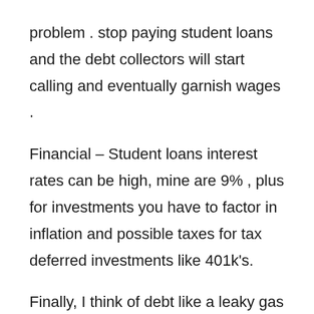problem . stop paying student loans and the debt collectors will start calling and eventually garnish wages .
Financial – Student loans interest rates can be high, mine are 9% , plus for investments you have to factor in inflation and possible taxes for tax deferred investments like 401k's.
Finally, I think of debt like a leaky gas tank where I'm losing fuel every time I give away money and get nothing in return . you can also think of it as running the financial race while wearing ankle weights because the loan payments are slowing you down .